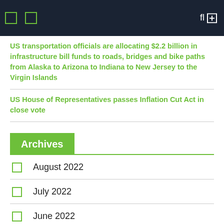Navigation bar with menu icons and search
US transportation officials are allocating $2.2 billion in infrastructure bill funds to roads, bridges and bike paths from Alaska to Arizona to Indiana to New Jersey to the Virgin Islands
US House of Representatives passes Inflation Cut Act in close vote
Archives
August 2022
July 2022
June 2022
May 2022
April 2022